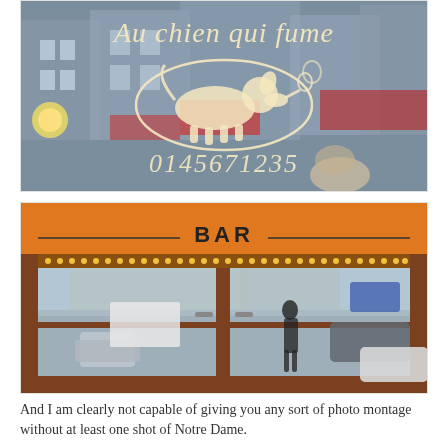[Figure (photo): Photo of a Parisian restaurant window with cursive text 'Au chien qui fume' and a logo of a dog smoking, with phone number '0145671235' visible on the glass, with street reflections visible.]
[Figure (photo): Photo of a Parisian bar storefront with an orange awning reading 'BAR', brown wooden frame with glass doors, and street reflections showing parked cars and buildings.]
And I am clearly not capable of giving you any sort of photo montage without at least one shot of Notre Dame.